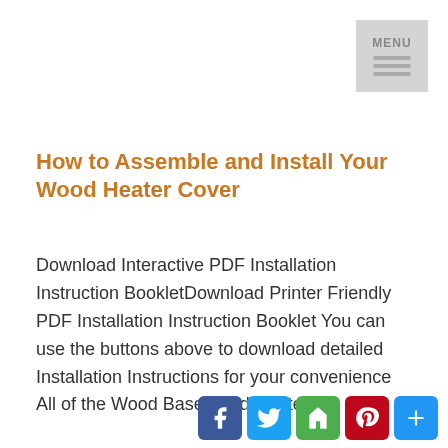[Figure (other): MENU button with hamburger icon in top right corner]
How to Assemble and Install Your Wood Heater Cover
Download Interactive PDF Installation Instruction BookletDownload Printer Friendly PDF Installation Instruction Booklet You can use the buttons above to download detailed Installation Instructions for your convenience All of the Wood Baseboard Heater C
[Figure (other): Social sharing icons: Facebook, Twitter, Houzz, Pinterest, More]